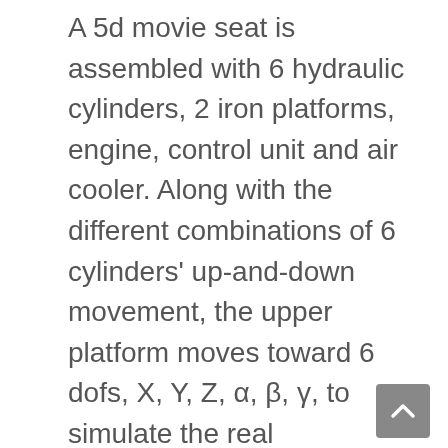A 5d movie seat is assembled with 6 hydraulic cylinders, 2 iron platforms, engine, control unit and air cooler. Along with the different combinations of 6 cylinders' up-and-down movement, the upper platform moves toward 6 dofs, X, Y, Z, α, β, γ, to simulate the real world.Actually, besides 6 dofs, the platform is improved by adding 8 more movement directions including left-front, left-back,right-front etc (seat effects: Water, Leg sweep, Vibration, Face air, Ear air, push back)
For the moment there are three kinds of dynamic chairs: hydraulic seats, electric seats and pneumatic seats.